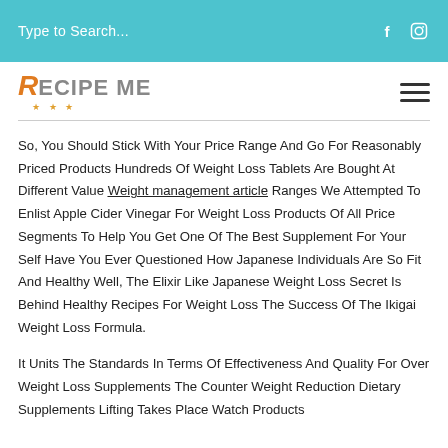Type to Search...
[Figure (logo): Recipe Me logo with orange stylized R and gray text, stars underneath]
So, You Should Stick With Your Price Range And Go For Reasonably Priced Products Hundreds Of Weight Loss Tablets Are Bought At Different Value Weight management article Ranges We Attempted To Enlist Apple Cider Vinegar For Weight Loss Products Of All Price Segments To Help You Get One Of The Best Supplement For Your Self Have You Ever Questioned How Japanese Individuals Are So Fit And Healthy Well, The Elixir Like Japanese Weight Loss Secret Is Behind Healthy Recipes For Weight Loss The Success Of The Ikigai Weight Loss Formula.
It Units The Standards In Terms Of Effectiveness And Quality For Over Weight Loss Supplements The Counter Weight Reduction Dietary Supplements Lifting Takes Place Watch Products